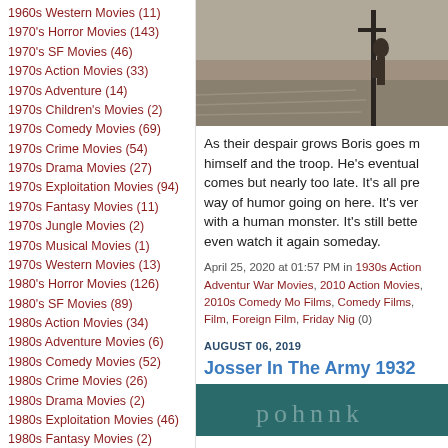1960s Western Movies (11)
1970's Horror Movies (143)
1970's SF Movies (46)
1970s Action Movies (33)
1970s Adventure (14)
1970s Children's Movies (2)
1970s Comedy Movies (69)
1970s Crime Movies (54)
1970s Drama Movies (27)
1970s Exploitation Movies (94)
1970s Fantasy Movies (11)
1970s Jungle Movies (2)
1970s Musical Movies (1)
1970s Western Movies (13)
1980's Horror Movies (126)
1980's SF Movies (89)
1980s Action Movies (34)
1980s Adventure Movies (6)
1980s Comedy Movies (52)
1980s Crime Movies (26)
1980s Drama Movies (2)
1980s Exploitation Movies (46)
1980s Fantasy Movies (2)
[Figure (photo): Black and white photo of a soldier or person standing near a post in a sandy/desert landscape]
As their despair grows Boris goes m himself and the troop. He's eventual comes but nearly too late. It's all pre way of humor going on here. It's ver with a human monster. It's still bette even watch it again someday.
April 25, 2020 at 01:57 PM in 1930s Action Adventur War Movies, 2010 Action Movies, 2010s Comedy Mo Films, Comedy Films, Film, Foreign Film, Friday Nig (0)
AUGUST 06, 2019
Josser In The Army 1932
[Figure (photo): Teal/dark background movie still image, partially visible text]